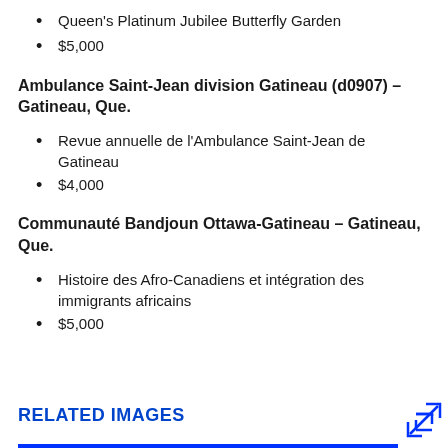Queen's Platinum Jubilee Butterfly Garden
$5,000
Ambulance Saint-Jean division Gatineau (d0907) – Gatineau, Que.
Revue annuelle de l'Ambulance Saint-Jean de Gatineau
$4,000
Communauté Bandjoun Ottawa-Gatineau – Gatineau, Que.
Histoire des Afro-Canadiens et intégration des immigrants africains
$5,000
RELATED IMAGES